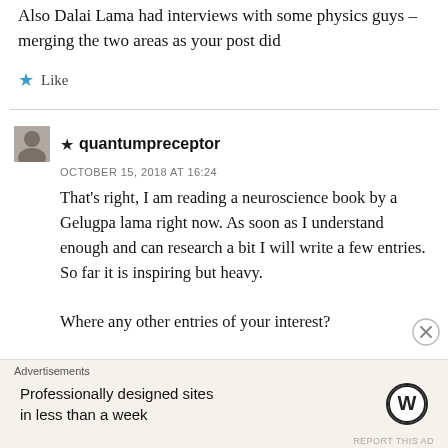Also Dalai Lama had interviews with some physics guys – merging the two areas as your post did
★ Like
★ quantumpreceptor
OCTOBER 15, 2018 AT 16:24
That's right, I am reading a neuroscience book by a Gelugpa lama right now. As soon as I understand enough and can research a bit I will write a few entries. So far it is inspiring but heavy.

Where any other entries of your interest?
Advertisements
Professionally designed sites in less than a week